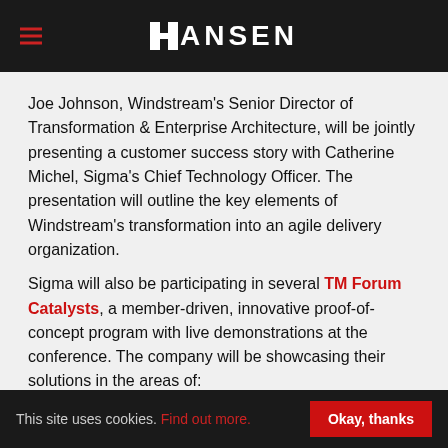HANSEN
Joe Johnson, Windstream's Senior Director of Transformation & Enterprise Architecture, will be jointly presenting a customer success story with Catherine Michel, Sigma's Chief Technology Officer. The presentation will outline the key elements of Windstream's transformation into an agile delivery organization.
Sigma will also be participating in several TM Forum Catalysts, a member-driven, innovative proof-of-concept program with live demonstrations at the conference. The company will be showcasing their solutions in the areas of:
Omnichannel Adoption
Mobile Sponsored Data
Offer Canvas
This site uses cookies. Find out more. Okay, thanks